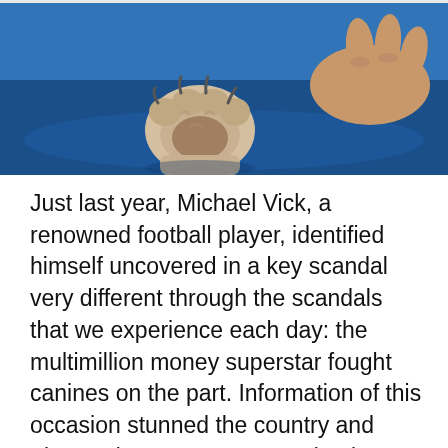[Figure (photo): A human hand holding a dog's paw on a blue surface, viewed from above. The dog paw shows claws and the human fingers are visible gripping it gently.]
Just last year, Michael Vick, a renowned football player, identified himself uncovered in a key scandal very different through the scandals that we experience each day: the multimillion money superstar fought canines on the part. Information of this occasion stunned the country and triggered outrage among animal privileges groupings. How could a person, who had… Continue reading